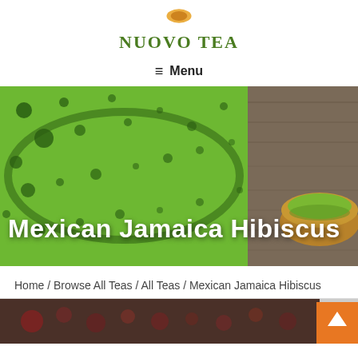NUOVO TEA
≡ Menu
[Figure (photo): Hero banner image showing a close-up of green matcha tea in a bowl with bubbles on the left, and a wooden bowl of green powder on the right. White bold text overlay reads 'Mexican Jamaica Hibiscus'.]
Home / Browse All Teas / All Teas / Mexican Jamaica Hibiscus
[Figure (photo): Partial bottom image showing product or ingredients, cropped at page bottom.]